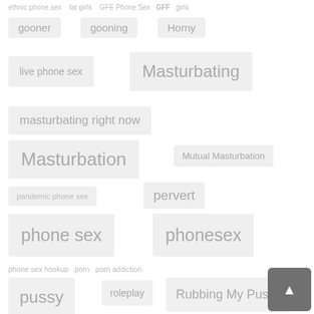ethnic phone sex   fat girls   GFE Phone Sex   GFF   girls
gooner   gooning   Horny
live phone sex   Masturbating
masturbating right now
Masturbation   Mutual Masturbation
pandemic phone sex   pervert
phone sex   phonesex
phone sex hookup   porn   porn addiction
pussy   roleplay   Rubbing My Pussy
slut